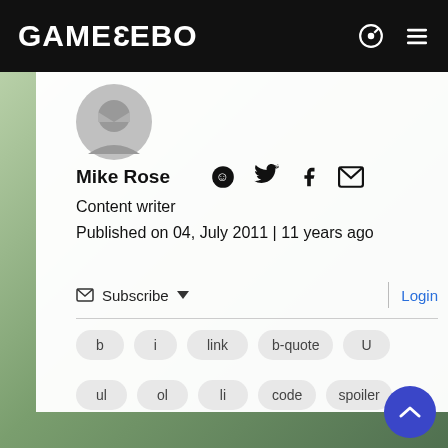GAMEZEBO
[Figure (illustration): User avatar placeholder circle with bowtie/ghost shape in gray]
Mike Rose
[Figure (infographic): Social media icons: Reddit, Twitter, Facebook, Email]
Content writer
Published on 04, July 2011 | 11 years ago
Subscribe  Login
b  i  link  b-quote  U
ul  ol  li  code  spoiler